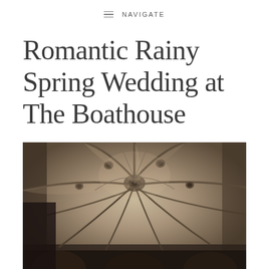NAVIGATE
Romantic Rainy Spring Wedding at The Boathouse
[Figure (photo): Interior architectural photo of gothic vaulted stone ceiling with ribbed arches converging at decorative bosses, shot in warm sepia tones from below looking upward]